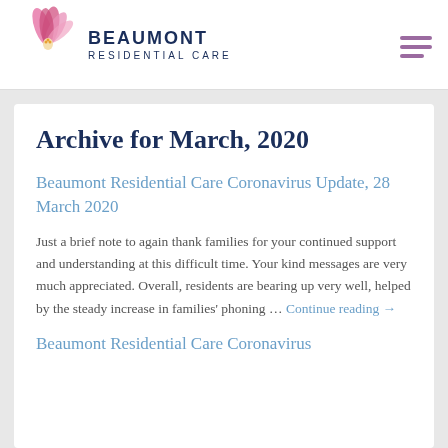Beaumont Residential Care
Archive for March, 2020
Beaumont Residential Care Coronavirus Update, 28 March 2020
Just a brief note to again thank families for your continued support and understanding at this difficult time. Your kind messages are very much appreciated. Overall, residents are bearing up very well, helped by the steady increase in families' phoning … Continue reading →
Beaumont Residential Care Coronavirus